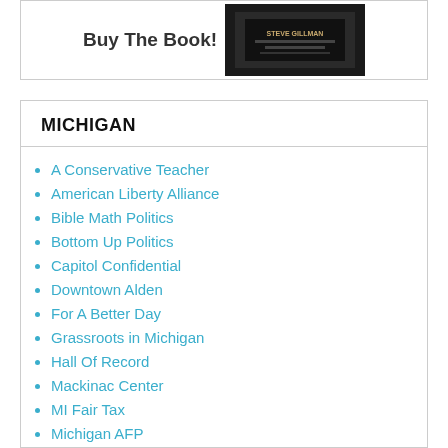[Figure (photo): Book cover image with text 'STEVE GILLMAN' visible, held in a hand, dark background]
Buy The Book!
MICHIGAN
A Conservative Teacher
American Liberty Alliance
Bible Math Politics
Bottom Up Politics
Capitol Confidential
Downtown Alden
For A Better Day
Grassroots in Michigan
Hall Of Record
Mackinac Center
MI Fair Tax
Michigan AFP
Michigan Freedom To Work
Michigan House List